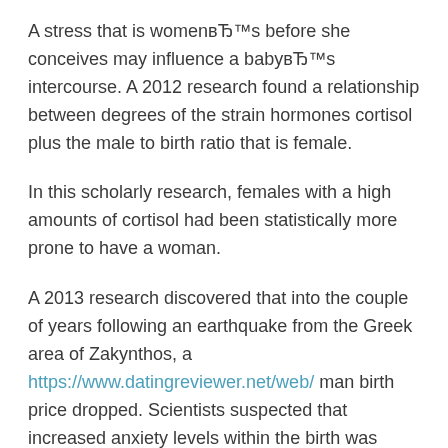A stress that is womenвЂ™s before she conceives may influence a babyвЂ™s intercourse. A 2012 research found a relationship between degrees of the strain hormones cortisol plus the male to birth ratio that is female.
In this scholarly research, females with a high amounts of cortisol had been statistically more prone to have a woman.
A 2013 research discovered that into the couple of years following an earthquake from the Greek area of Zakynthos, a https://www.datingreviewer.net/web/ man birth price dropped. Scientists suspected that increased anxiety levels within the birth was affected by the islandвЂ™s community ratio.
More research is required to properly comprehend the